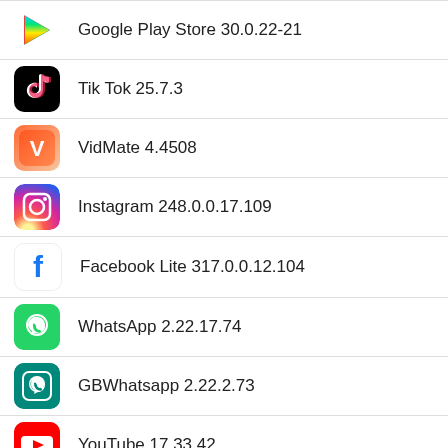Google Play Store 30.0.22-21
Tik Tok 25.7.3
VidMate 4.4508
Instagram 248.0.0.17.109
Facebook Lite 317.0.0.12.104
WhatsApp 2.22.17.74
GBWhatsapp 2.22.2.73
YouTube 17.33.42
Facebook 381.0.0.29.105
Recently Updated